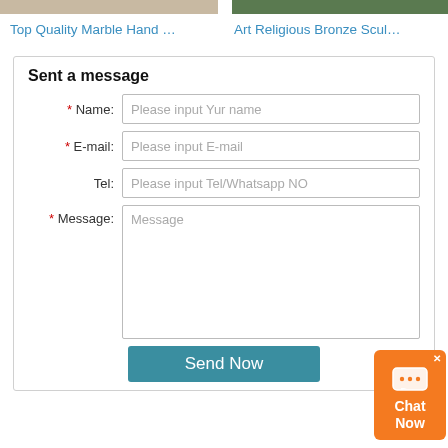[Figure (photo): Partial view of marble hand sculpture product image on left]
[Figure (photo): Partial view of bronze religious sculpture product image on right]
Top Quality Marble Hand …
Art Religious Bronze Scul…
Sent a message
* Name: Please input Yur name
* E-mail: Please input E-mail
Tel: Please input Tel/Whatsapp NO
* Message: Message
Send Now
[Figure (infographic): Orange chat widget with chat bubble icon, close X, and Chat Now text]